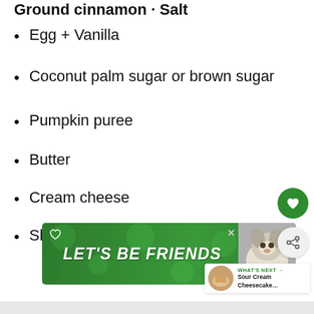Ground cinnamon · Salt
Egg + Vanilla
Coconut palm sugar or brown sugar
Pumpkin puree
Butter
Cream cheese
Shortening
[Figure (other): Green advertisement banner reading LET'S BE FRIENDS with a dog photo and a heart icon, plus floating action buttons (heart and share) and a What's Next panel for Sour Cream Cheesecake]